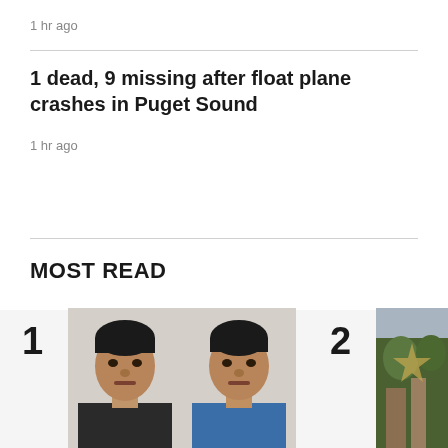1 hr ago
1 dead, 9 missing after float plane crashes in Puget Sound
1 hr ago
MOST READ
[Figure (photo): Mugshot photos of two men side by side, numbered 1 in the Most Read section]
[Figure (photo): Outdoor scene photo partially visible, numbered 2 in the Most Read section]